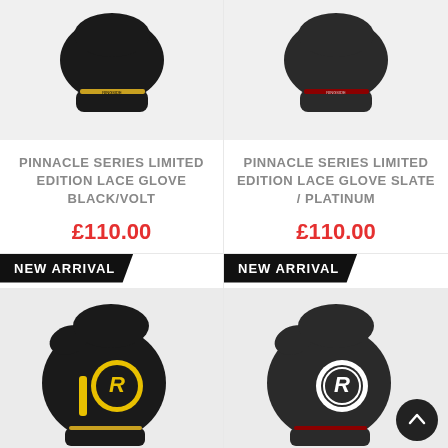[Figure (photo): Boxing glove Black/Volt variant, top view on light background]
PINNACLE SERIES LIMITED EDITION LACE GLOVE BLACK/VOLT
£110.00
[Figure (photo): Boxing glove Slate/Platinum variant, top view on light background]
PINNACLE SERIES LIMITED EDITION LACE GLOVE SLATE / PLATINUM
£110.00
NEW ARRIVAL
[Figure (photo): Black boxing glove with yellow Ringside R logo, side view]
NEW ARRIVAL
[Figure (photo): Black boxing glove with white Ringside R logo, side view]